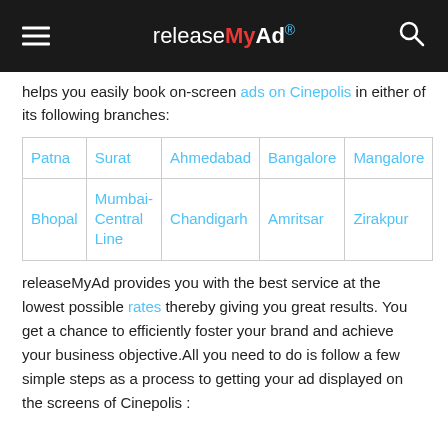releaseMyAd
helps you easily book on-screen ads on Cinepolis in either of its following branches:
| Patna | Surat | Ahmedabad | Bangalore | Mangalore |
| Bhopal | Mumbai-Central Line | Chandigarh | Amritsar | Zirakpur |
releaseMyAd provides you with the best service at the lowest possible rates thereby giving you great results. You get a chance to efficiently foster your brand and achieve your business objective.All you need to do is follow a few simple steps as a process to getting your ad displayed on the screens of Cinepolis :